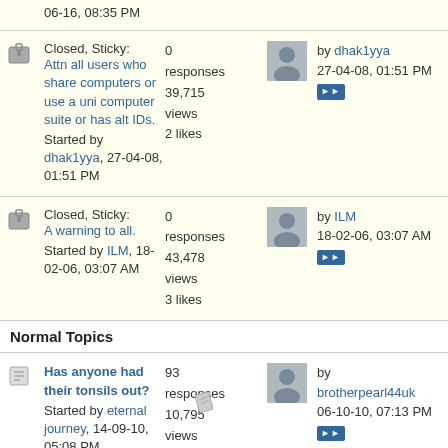06-16, 08:35 PM
Closed, Sticky: Attn all users who share computers or use a uni computer suite or has alt IDs. Started by dhak1yya, 27-04-08, 01:51 PM | 0 responses, 39,715 views, 2 likes | by dhak1yya 27-04-08, 01:51 PM
Closed, Sticky: A warning to all. Started by ILM, 18-02-06, 03:07 AM | 0 responses, 43,478 views, 3 likes | by ILM 18-02-06, 03:07 AM
Normal Topics
Has anyone had their tonsils out? Started by eternal journey, 14-09-10, 05:08 PM | 93 responses, 10,795 views, 0 likes | by brotherpearl44uk 06-10-10, 07:13 PM
Eid in Our Shoes | 3 responses | by whisperofimaan